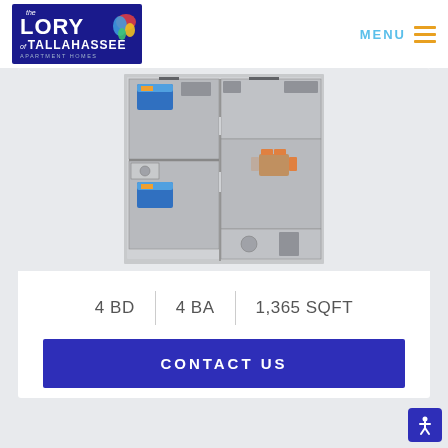[Figure (logo): The Lory of Tallahassee Apartment Homes logo - dark blue background with white text and colorful bird graphic]
MENU
[Figure (illustration): 3D floor plan top-down view of a 4 bedroom 4 bathroom apartment unit showing rooms with furniture]
4 BD | 4 BA | 1,365 SQFT
CONTACT US